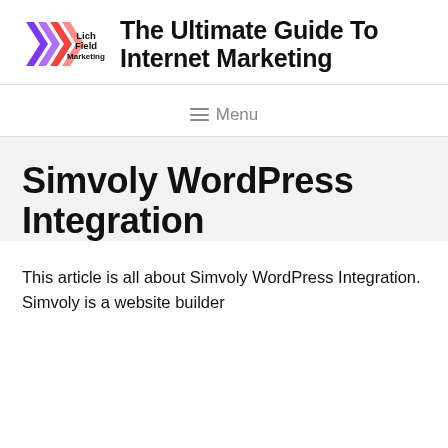[Figure (logo): LichField Marketing logo with purple and red chevron arrows and company name text]
The Ultimate Guide To Internet Marketing
≡ Menu
Simvoly WordPress Integration
This article is all about Simvoly WordPress Integration. Simvoly is a website builder